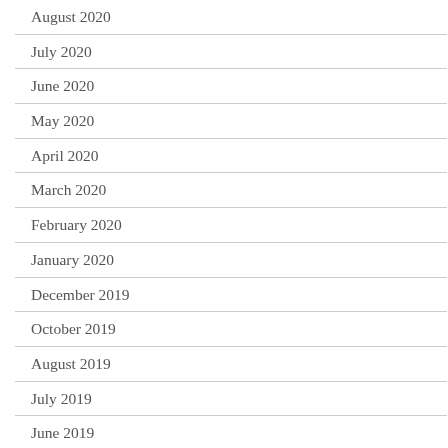August 2020
July 2020
June 2020
May 2020
April 2020
March 2020
February 2020
January 2020
December 2019
October 2019
August 2019
July 2019
June 2019